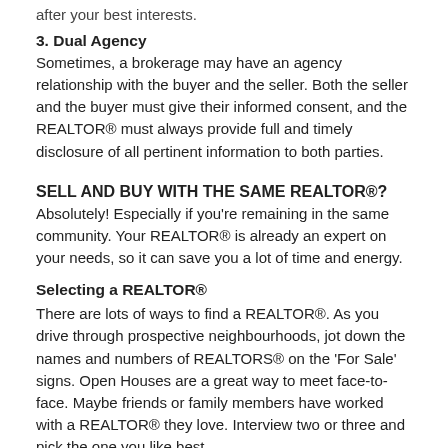after your best interests.
3.  Dual Agency
Sometimes, a brokerage may have an agency relationship with the buyer and the seller. Both the seller and the buyer must give their informed consent, and the REALTOR® must always provide full and timely disclosure of all pertinent information to both parties.
SELL AND BUY WITH THE SAME REALTOR®?
Absolutely! Especially if you're remaining in the same community. Your REALTOR® is already an expert on your needs, so it can save you a lot of time and energy.
Selecting a REALTOR®
There are lots of ways to find a REALTOR®. As you drive through prospective neighbourhoods, jot down the names and numbers of REALTORS® on the 'For Sale' signs. Open Houses are a great way to meet face-to-face. Maybe friends or family members have worked with a REALTOR® they love. Interview two or three and pick the one you like best.
How REALTORS® help buyers like you.
A REALTOR® will review your list of wants and needs to help you determine your price range.
Answer questions about the markets you're interested in and help you compare homes and   neighbourhoods.